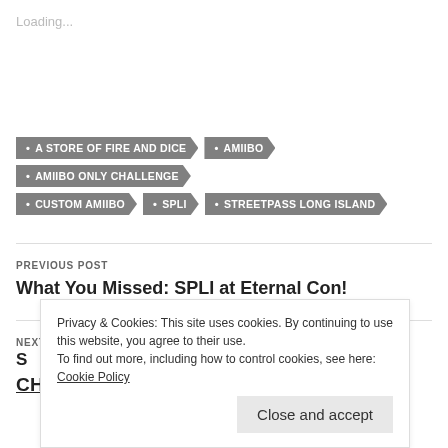Loading...
A STORE OF FIRE AND DICE
AMIIBO
AMIIBO ONLY CHALLENGE
CUSTOM AMIIBO
SPLI
STREETPASS LONG ISLAND
PREVIOUS POST
What You Missed: SPLI at Eternal Con!
NEXT POST
CHALLENGE (DONE)
Privacy & Cookies: This site uses cookies. By continuing to use this website, you agree to their use.
To find out more, including how to control cookies, see here: Cookie Policy
Close and accept